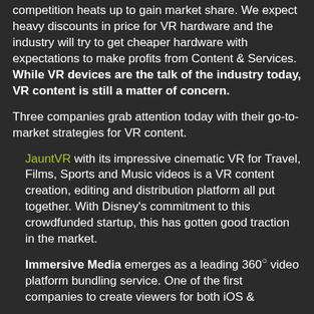competition heats up to gain market share. We expect heavy discounts in price for VR hardware and the industry will try to get cheaper hardware with expectations to make profits from Content & Services. While VR devices are the talk of the industry today, VR content is still a matter of concern.
Three companies grab attention today with their go-to-market strategies for VR content.
JauntVR with its impressive cinematic VR for Travel, Films, Sports and Music videos is a VR content creation, editing and distribution platform all put together. With Disney's commitment to this crowdfunded startup, this has gotten good traction in the market.
Immersive Media emerges as a leading 360° video platform bundling service. One of the first companies to create viewers for both iOS &